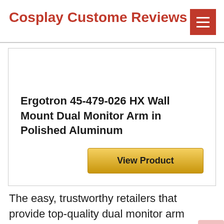Cosplay Custome Reviews
Ergotron 45-479-026 HX Wall Mount Dual Monitor Arm in Polished Aluminum
View Product
The easy, trustworthy retailers that provide top-quality dual monitor arm products